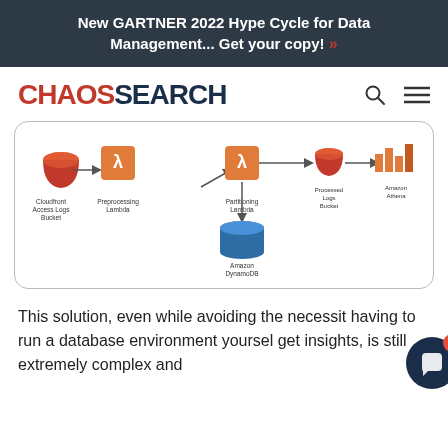New GARTNER 2022 Hype Cycle for Data Management... Get your copy! »
CHAOSSEARCH
[Figure (engineering-diagram): AWS architecture diagram showing: Cloudfront Access Logs Bucket → Preprocessing Lambda → Partitioning Lambda → Amazon DynamoDB (below), and Partitioning Lambda → Processed Logs Bucket → Amazon Athena]
This solution, even while avoiding the necessity of having to run a database environment yourself to get insights, is still extremely complex and